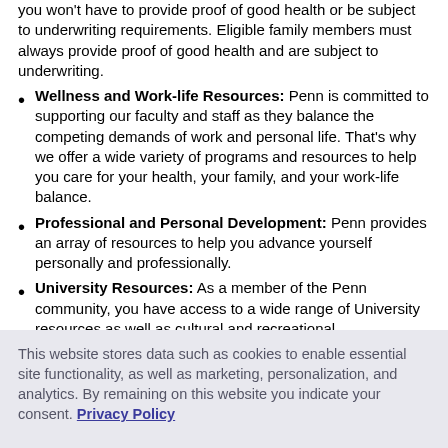you won't have to provide proof of good health or be subject to underwriting requirements. Eligible family members must always provide proof of good health and are subject to underwriting.
Wellness and Work-life Resources: Penn is committed to supporting our faculty and staff as they balance the competing demands of work and personal life. That's why we offer a wide variety of programs and resources to help you care for your health, your family, and your work-life balance.
Professional and Personal Development: Penn provides an array of resources to help you advance yourself personally and professionally.
University Resources: As a member of the Penn community, you have access to a wide range of University resources as well as cultural and recreational
This website stores data such as cookies to enable essential site functionality, as well as marketing, personalization, and analytics. By remaining on this website you indicate your consent. Privacy Policy